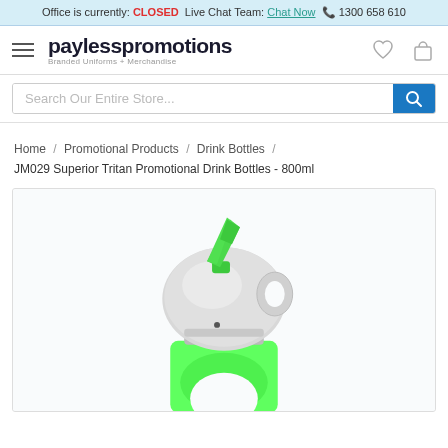Office is currently: CLOSED  Live Chat Team: Chat Now  📞 1300 658 610
[Figure (logo): Payless Promotions logo — text logo reading 'paylesspromotions' with tagline 'Branded Uniforms + Merchandise']
Search Our Entire Store...
Home / Promotional Products / Drink Bottles / JM029 Superior Tritan Promotional Drink Bottles - 800ml
[Figure (photo): Product image of JM029 Superior Tritan Promotional Drink Bottle (800ml) — close-up of the bottle cap/top section, showing a grey cap with a green flip spout and a bright green transparent bottle body below]